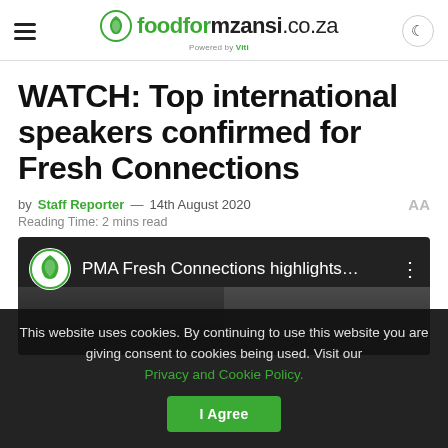foodformzansi.co.za — Powered by Viti
WATCH: Top international speakers confirmed for Fresh Connections
by Staff Reporter — 14th August 2020
Reading Time: 2 mins read
[Figure (screenshot): Video thumbnail for PMA Fresh Connections highlights showing two people and the Food for Mzansi logo]
This website uses cookies. By continuing to use this website you are giving consent to cookies being used. Visit our Privacy and Cookie Policy. | I Agree